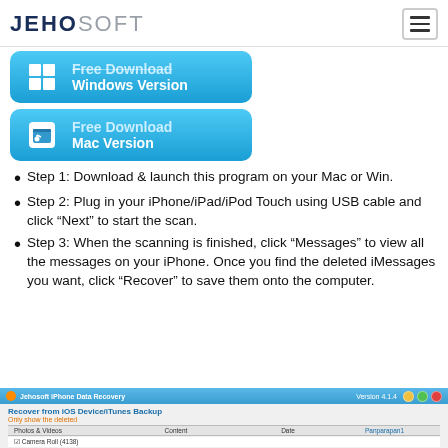JEHOSOFT
[Figure (screenshot): Free Download Windows Version button - blue gradient button with Windows icon]
[Figure (screenshot): Free Download Mac Version button - blue gradient button with Mac Finder icon]
Step 1: Download & launch this program on your Mac or Win.
Step 2: Plug in your iPhone/iPad/iPod Touch using USB cable and click “Next” to start the scan.
Step 3: When the scanning is finished, click “Messages” to view all the messages on your iPhone. Once you find the deleted iMessages you want, click “Recover” to save them onto the computer.
[Figure (screenshot): Jehosoft iPhone Data Recovery application screenshot showing Recover from iOS Device/iTunes Backup panel with Photos & Videos section and Camera Roll listing]